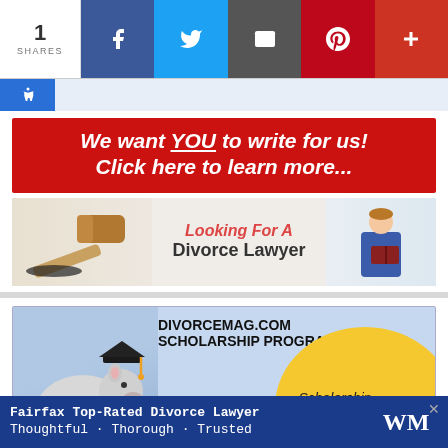[Figure (screenshot): Social share bar with count '1 SHARES' and icons for Facebook, Twitter, Email, Pinterest, and plus button]
[Figure (screenshot): Accessibility icon bar with wheelchair symbol on blue background]
[Figure (infographic): Red banner advertisement: 'We want YOU to write for us! Click here to learn more...']
[Figure (infographic): Looking For A Divorce Lawyer advertisement with gavel and lawyer images]
[Figure (infographic): DIVORCEMAG.COM SCHOLARSHIP PROGRAM advertisement with piggy bank wearing graduation cap and 'Scholarship Opportunity' text]
[Figure (infographic): Bottom sticky ad: Fairfax Top-Rated Divorce Lawyer - Thoughtful · Thorough · Trusted with WM logo]